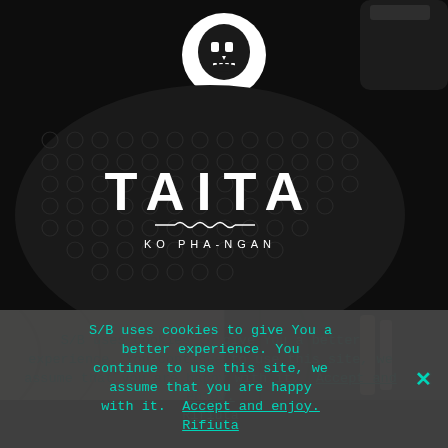[Figure (photo): Dark black background with an oval coaster displaying the TAITA KO PHA-NGAN logo in white text, with a skull-like icon above it. The coaster has a textured surface with circular dot pattern.]
[Figure (photo): Strip showing folded clothing items - grey fabric on the left and dark teal/forest green fabric on the right with some beige/white items.]
S/B uses cookies to give You a better experience. You continue to use this site, we assume that you are happy with it.  Accept and enjoy. Rifiuta